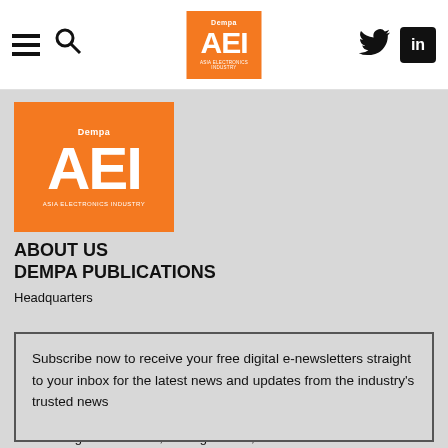AEI — Asia Electronics Industry — Dempa Publications navigation bar with hamburger menu, search icon, AEI logo, Twitter and LinkedIn icons
[Figure (logo): AEI Asia Electronics Industry logo — orange square with white AEI text, Dempa branding above]
ABOUT US
DEMPA PUBLICATIONS
Headquarters

Tokyo, Japan

Dempa Publications Inc.

1-11-15 Higashi Gotanda, Shinagawa-Ku,

Tokyo 141-8715, Japan

Tel: (+81)-3-3445-6131

Fax: (+81)-3-3445-6890
Subscribe now to receive your free digital e-newsletters straight to your inbox for the latest news and updates from the industry's trusted news